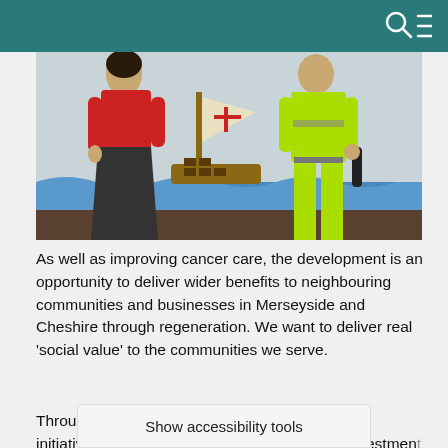[Figure (photo): Two people standing in front of a painted mural/wall — one wearing a red top and dark skirt, the other wearing a yellow hi-vis safety vest and trousers. The mural depicts a ship with a cross on its sail and blue waves.]
As well as improving cancer care, the development is an opportunity to deliver wider benefits to neighbouring communities and businesses in Merseyside and Cheshire through regeneration. We want to deliver real 'social value' to the communities we serve.
Through the project we will develop a number of initiatives which are focused on local people, investment and
Show accessibility tools